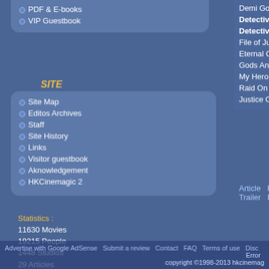PDF & E-books
VIP Guestbook
SITE
Site Map
Editos Archives
Staff
Site History
Links
Visitor guestbook
Aknowledgement
HKCinemagic 2
| Title | Year | Role |
| --- | --- | --- |
| Demi Gods And Semi Devils, The | 1997 | Actress |
| Detective Investigation Files III | 1997 | Actress |
| Detective Investigation Files II | 1995 | Actress |
| File of Justice, The | 1992 | Actress |
| Eternal Combat, An | 1991 | Actress |
| Gods And Demons Of Zu Mountain, The | 1990 | Actress |
| My Hero | 1990 | Actress |
| Raid On Royal Casino Marine | 1990 | Actress |
| Justice Of Life, The | 1989 | Actress |
Article  Review  Poster/Gallery  DVD Captures  Trailer  DVD Captures/Trailer
Statistics :
11630 Movies
19215 People
1448 Studios
29 Articles
73 Interviews
12 DVD Reviews
32452 Screenshots
3722 Videos
Advertise with Google AdSense  Submit a review  Contact  FAQ  Terms of use  Disc  Error  copyright ©1998-2013 hkcinemag